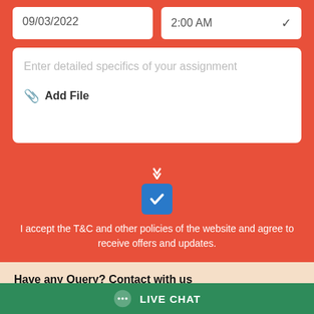09/03/2022
2:00 AM
Enter detailed specifics of your assignment
Add File
I accept the T&C and other policies of the website and agree to receive offers and updates.
Have any Query? Contact with us
Sales Chat
(New Assignment Inquiry)
Support Chat
(Assignment Already Booked)
LIVE CHAT